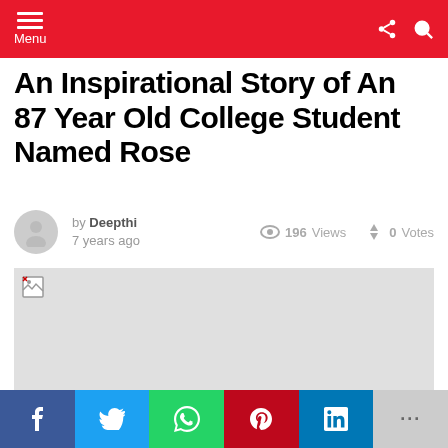Menu
An Inspirational Story of An 87 Year Old College Student Named Rose
by Deepthi
7 years ago
196 Views
0 Votes
[Figure (photo): Broken/missing image placeholder (light gray rectangle with broken image icon in top-left corner)]
Social share bar: Facebook, Twitter, WhatsApp, Pinterest, LinkedIn, More